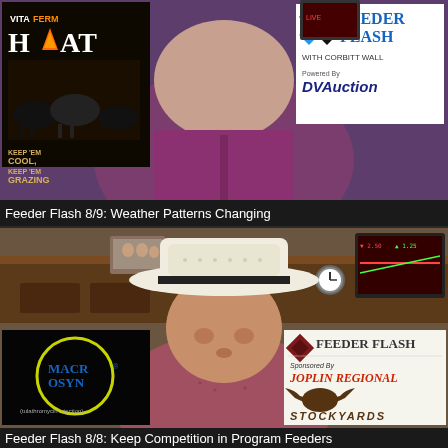[Figure (screenshot): Video thumbnail for 'Feeder Flash 8/9: Weather Patterns Changing' showing a man in a purple shirt with VitaFerm Heat advertisement on the left and Feeder Flash with Corbitt Wall powered by DVAuction logo on the right]
Feeder Flash 8/9: Weather Patterns Changing
[Figure (screenshot): Video thumbnail for 'Feeder Flash 8/8: Keep Competition in Program Feeders' showing a man in a cowboy hat with Macrosyn (tulathromycin injection) advertisement on the left and Feeder Flash sponsored by Joplin Regional Stockyards logo on the right]
Feeder Flash 8/8: Keep Competition in Program Feeders
[Figure (screenshot): Partial view of a third video thumbnail at the bottom of the page]